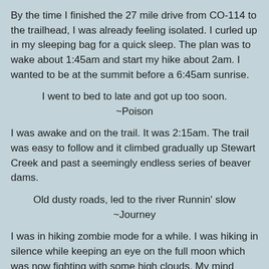By the time I finished the 27 mile drive from CO-114 to the trailhead, I was already feeling isolated.  I curled up in my sleeping bag for a quick sleep.  The plan was to wake about 1:45am and start my hike about 2am.  I wanted to be at the summit before a 6:45am sunrise.
I went to bed to late and got up too soon.
~Poison
I was awake and on the trail.  It was 2:15am.  The trail was easy to follow and it climbed gradually up Stewart Creek and past a seemingly endless series of beaver dams.
Old dusty roads, led to the river Runnin' slow
~Journey
I was in hiking zombie mode for a while.  I was hiking in silence while keeping an eye on the full moon which was now fighting with some high clouds.  My mind began to roam and wander.